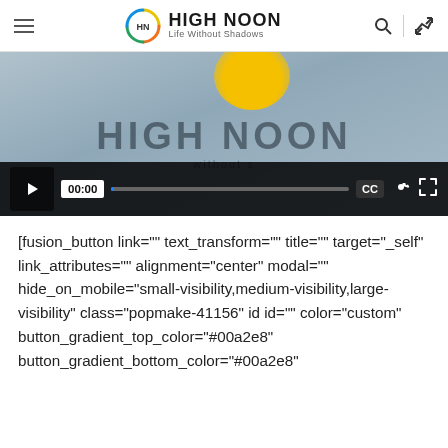HIGH NOON — Life Without Shadows
[Figure (screenshot): Video player showing HIGH NOON branded video paused at 00:00 with playback controls including play button, timestamp, progress bar, CC, settings, and fullscreen buttons]
[fusion_button link="" text_transform="" title="" target="_self" link_attributes="" alignment="center" modal="" hide_on_mobile="small-visibility,medium-visibility,large-visibility" class="popmake-41156" id id="" color="custom" button_gradient_top_color="#00a2e8" button_gradient_bottom_color="#00a2e8"